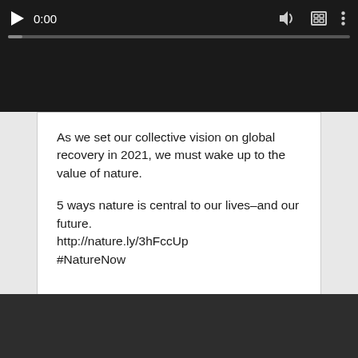[Figure (screenshot): Video player controls bar with black background, showing play button, time display '0:00', progress bar, volume icon, fullscreen icon, and options icon]
As we set our collective vision on global recovery in 2021, we must wake up to the value of nature.

5 ways nature is central to our lives–and our future.
http://nature.ly/3hFccUp
#NatureNow
[Figure (screenshot): Twitter Tweet button with bird icon on blue background]
[Figure (screenshot): Dark gray/charcoal colored video player area at the bottom of the page]